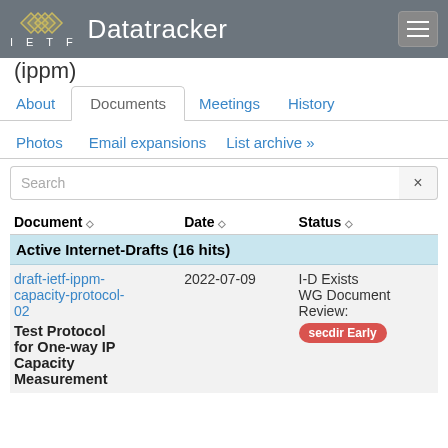IETF Datatracker
(ippm)
About | Documents | Meetings | History | Photos | Email expansions | List archive »
Search
| Document ◇ | Date ◇ | Status ◇ |
| --- | --- | --- |
| Active Internet-Drafts (16 hits) |  |  |
| draft-ietf-ippm-capacity-protocol-02
Test Protocol for One-way IP Capacity Measurement | 2022-07-09 | I-D Exists
WG Document
Review:
secdir Early |